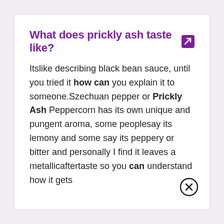What does prickly ash taste like?
Itslike describing black bean sauce, until you tried it how can you explain it to someone.Szechuan pepper or Prickly Ash Peppercorn has its own unique and pungent aroma, some peoplesay its lemony and some say its peppery or bitter and personally I find it leaves a metallicaftertaste so you can understand how it gets